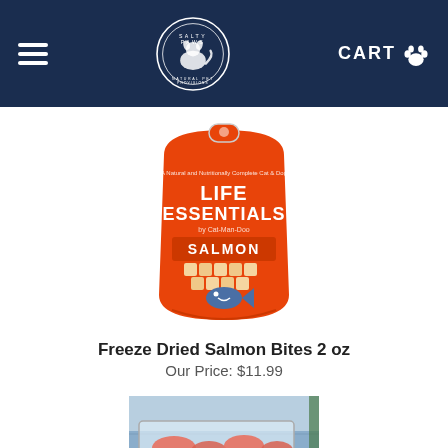Salty Paws - Navigation header with hamburger menu, logo, and CART
[Figure (photo): Orange bag of Life Essentials Freeze Dried Salmon treats product]
Freeze Dried Salmon Bites 2 oz
Our Price: $11.99
[Figure (photo): Partially visible photo of salmon fillets in a clear plastic container near water]